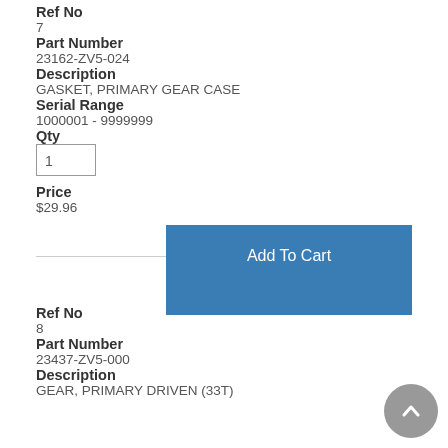Ref No
7
Part Number
23162-ZV5-024
Description
GASKET, PRIMARY GEAR CASE
Serial Range
1000001 - 9999999
Qty
1
Price
$29.96
Ref No
8
Part Number
23437-ZV5-000
Description
GEAR, PRIMARY DRIVEN (33T)